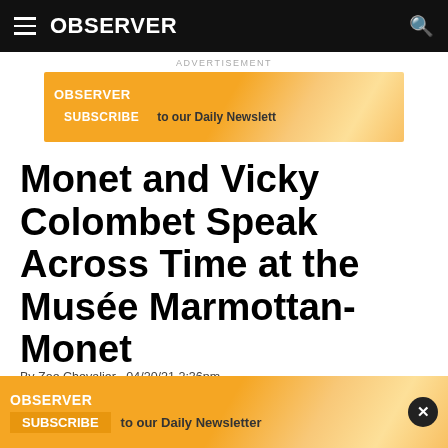OBSERVER
[Figure (infographic): Observer newsletter subscribe advertisement banner]
Monet and Vicky Colombet Speak Across Time at the Musée Marmottan-Monet
By Zoe Chevalier · 04/20/21 2:36pm
[Figure (infographic): Observer newsletter subscribe advertisement banner at bottom of page with close button]